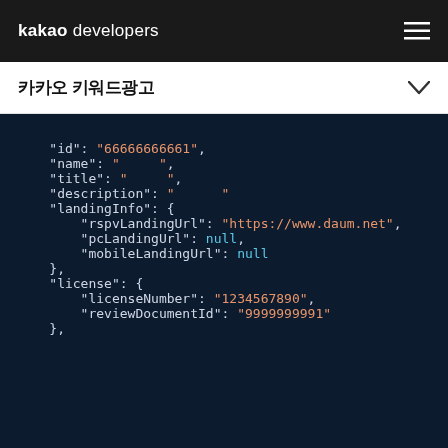kakao developers
카카오 키워드광고
[Figure (screenshot): JSON code block on dark navy background showing API response fields: id, name, title, description, landingInfo (with rspvLandingUrl, pcLandingUrl, mobileLandingUrl), license (with licenseNumber, reviewDocumentId)]